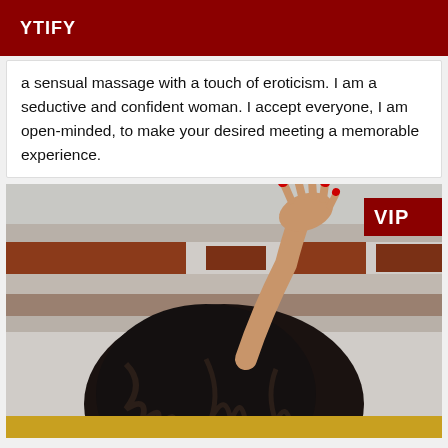YTIFY
a sensual massage with a touch of eroticism. I am a seductive and confident woman. I accept everyone, I am open-minded, to make your desired meeting a memorable experience.
[Figure (photo): A woman with long dark wavy hair seen from behind, hand pressed against a metallic/fabric backdrop with red and gold horizontal stripes. VIP badge in top right corner.]